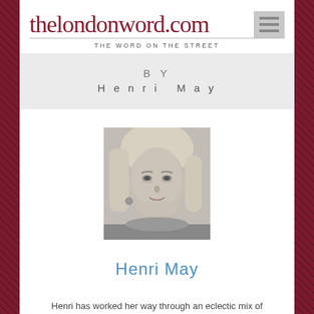thelondonword.com
THE WORD ON THE STREET
BY
Henri May
[Figure (photo): Black and white portrait photo of Henri May, a woman with light hair, looking at the camera]
Henri May
Henri has worked her way through an eclectic mix of